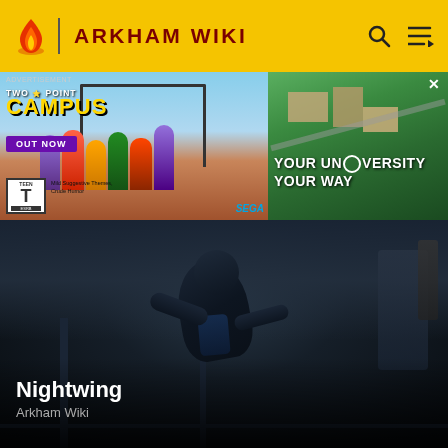ARKHAM WIKI
[Figure (screenshot): Two Point Campus video game advertisement. Left side shows colorful 3D game characters in front of a university building with text 'TWO POINT CAMPUS', 'OUT NOW', ESRB Teen rating, 'Mild Suggestive Themes, Crude Humor', Sega logo. Right side shows aerial view of campus with text 'YOUR UNIVERSITY YOUR WAY'.]
[Figure (screenshot): Dark atmospheric game screenshot showing Nightwing character in a crouching pose on a rooftop or structure, wearing blue and black suit, with dark cloudy sky background.]
Nightwing
Arkham Wiki